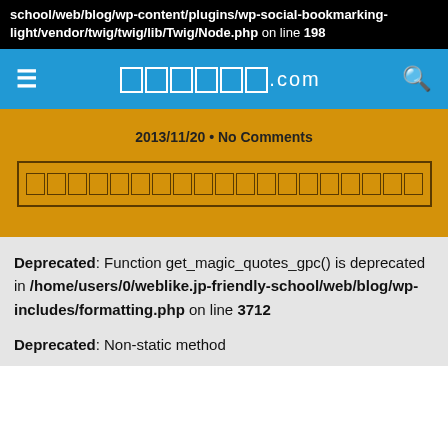school/web/blog/wp-content/plugins/wp-social-bookmarking-light/vendor/twig/twig/lib/Twig/Node.php on line 198
□□□□□□.com
2013/11/20 • No Comments
□□□□□□□□□□□□□□□□□□□
Deprecated: Function get_magic_quotes_gpc() is deprecated in /home/users/0/weblike.jp-friendly-school/web/blog/wp-includes/formatting.php on line 3712
Deprecated: Non-static method